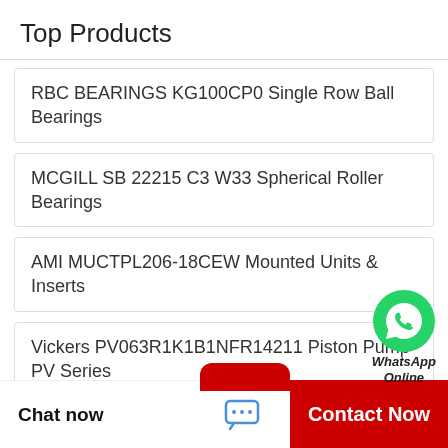Top Products
RBC BEARINGS KG100CP0 Single Row Ball Bearings
MCGILL SB 22215 C3 W33 Spherical Roller Bearings
AMI MUCTPL206-18CEW Mounted Units & Inserts
Vickers PV063R1K1B1NFR14211 Piston Pump PV Series
Timken 37431a Bearing
[Figure (logo): WhatsApp green circle icon with phone handset]
WhatsApp Online
Chat now
Contact Now